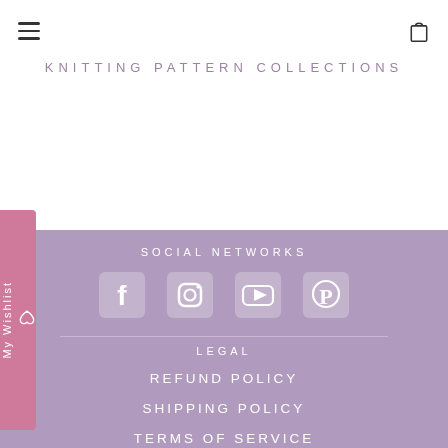[Figure (logo): Linda Whaley Knitting Pattern Collections logo in purple script with spaced subtitle]
SOCIAL NETWORKS
[Figure (infographic): Four white social media icons on purple background: Facebook, Instagram, YouTube, Pinterest]
LEGAL
REFUND POLICY
SHIPPING POLICY
TERMS OF SERVICE
PRIVACY POLICY
CONTACT US